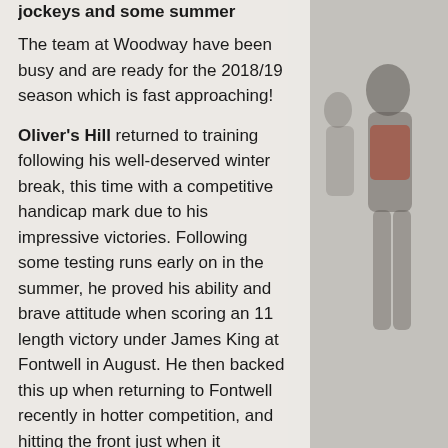jockeys and some summer runners also.
The team at Woodway have been busy and are ready for the 2018/19 season which is fast approaching!
Oliver's Hill returned to training following his well-deserved winter break, this time with a competitive handicap mark due to his impressive victories. Following some testing runs early on in the summer, he proved his ability and brave attitude when scoring an 11 length victory under James King at Fontwell in August. He then backed this up when returning to Fontwell recently in hotter competition, and hitting the front just when it mattered to beat the Skelton trained favourite by 3 lengths. Oliver has proved his love for Fontwell, with 7 chase wins from 17 runs there across formats, but